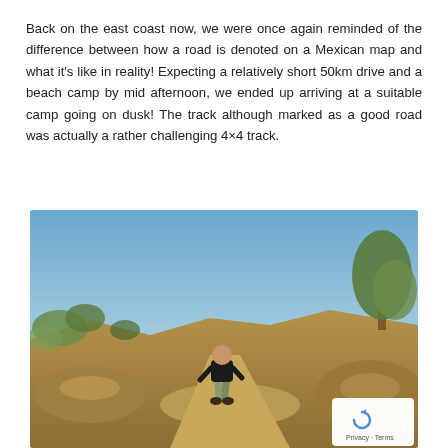Back on the east coast now, we were once again reminded of the difference between how a road is denoted on a Mexican map and what it's like in reality! Expecting a relatively short 50km drive and a beach camp by mid afternoon, we ended up arriving at a suitable camp going on dusk! The track although marked as a good road was actually a rather challenging 4×4 track.
[Figure (photo): Person in black shirt and camouflage shorts walking up a rocky 4x4 dirt track with sparse desert vegetation and blue sky, with reCAPTCHA privacy badge in bottom-right corner.]